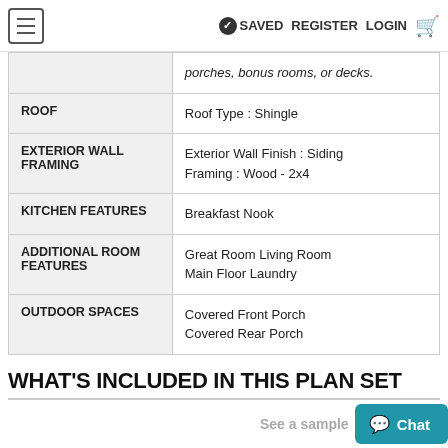≡  SAVED  REGISTER  LOGIN  🛒
|  | porches, bonus rooms, or decks. |
| ROOF | Roof Type : Shingle |
| EXTERIOR WALL FRAMING | Exterior Wall Finish : Siding
Framing : Wood - 2x4 |
| KITCHEN FEATURES | Breakfast Nook |
| ADDITIONAL ROOM FEATURES | Great Room Living Room
Main Floor Laundry |
| OUTDOOR SPACES | Covered Front Porch
Covered Rear Porch |
WHAT'S INCLUDED IN THIS PLAN SET
See a sample  Chat